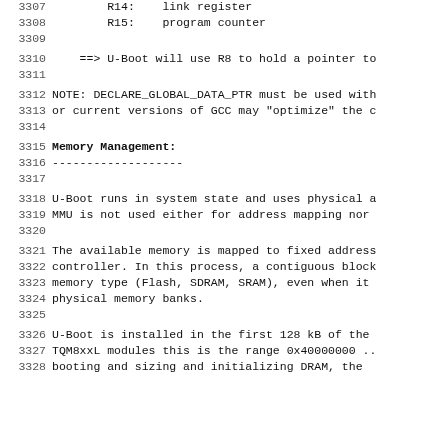3307    R14:    link register
3308    R15:    program counter
3309
3310    ==> U-Boot will use R8 to hold a pointer to
3311
3312    NOTE: DECLARE_GLOBAL_DATA_PTR must be used with
3313    or current versions of GCC may "optimize" the c
3314
3315    Memory Management:
3316    -------------------
3317
3318    U-Boot runs in system state and uses physical a
3319    MMU is not used either for address mapping nor
3320
3321    The available memory is mapped to fixed address
3322    controller. In this process, a contiguous block
3323    memory type (Flash, SDRAM, SRAM), even when it
3324    physical memory banks.
3325
3326    U-Boot is installed in the first 128 kB of the
3327    TQM8xxL modules this is the range 0x40000000 ..
3328    booting and sizing and initializing DRAM, the